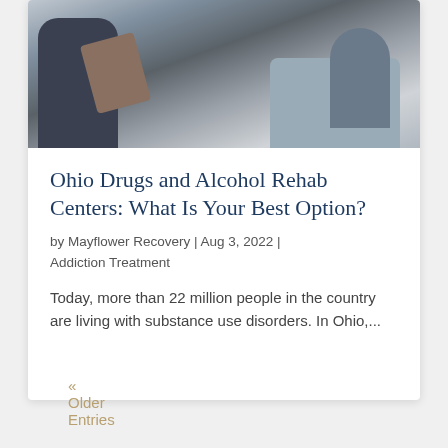[Figure (photo): A counseling session photo showing two people on a couch, one holding a clipboard, in a therapy/consultation setting.]
Ohio Drugs and Alcohol Rehab Centers: What Is Your Best Option?
by Mayflower Recovery | Aug 3, 2022 | Addiction Treatment
Today, more than 22 million people in the country are living with substance use disorders. In Ohio,...
« Older Entries